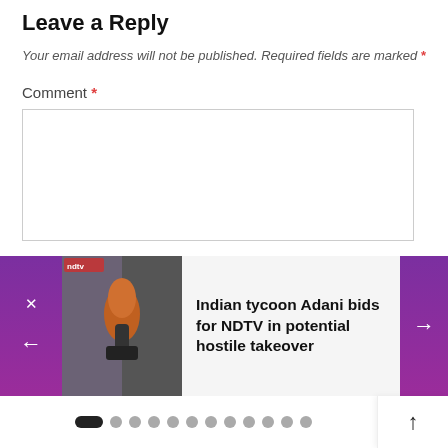Leave a Reply
Your email address will not be published. Required fields are marked *
Comment *
[Figure (screenshot): Comment text area input box]
[Figure (screenshot): Carousel navigation widget showing article: Indian tycoon Adani bids for NDTV in potential hostile takeover, with left/right purple arrow buttons, article thumbnail, dot pagination and scroll-up button]